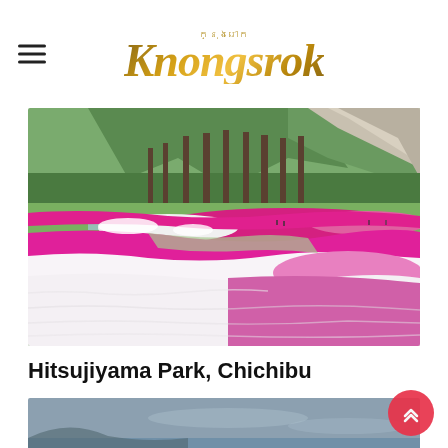Knongsrok
[Figure (photo): Hitsujiyama Park in Chichibu, Japan — sweeping fields of pink, magenta, and white Shibazakura (moss phlox) flowers arranged in flowing wave patterns, with tall pine trees and a mountain cliff in the background under a clear sky.]
Hitsujiyama Park, Chichibu
[Figure (photo): Bottom portion of a second travel photo, partially visible — appears to show a scenic landscape with a grey sky, possibly a lake or mountain view.]